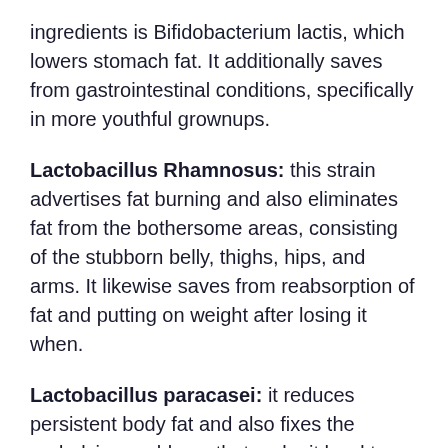ingredients is Bifidobacterium lactis, which lowers stomach fat. It additionally saves from gastrointestinal conditions, specifically in more youthful grownups.
Lactobacillus Rhamnosus: this strain advertises fat burning and also eliminates fat from the bothersome areas, consisting of the stubborn belly, thighs, hips, and arms. It likewise saves from reabsorption of fat and putting on weight after losing it when.
Lactobacillus paracasei: it reduces persistent body fat and also fixes the underlying problems that make it hard to slim down. It includes inflammation, contaminants, oxidative stress and